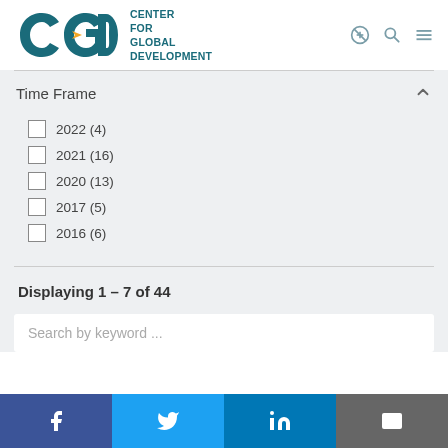[Figure (logo): Center for Global Development (CGD) logo with teal C, G, D letters and orange arrow]
Time Frame
2022 (4)
2021 (16)
2020 (13)
2017 (5)
2016 (6)
Displaying 1 – 7 of 44
Search by keyword ...